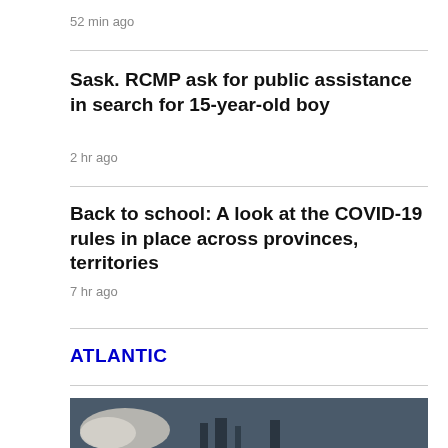52 min ago
Sask. RCMP ask for public assistance in search for 15-year-old boy
2 hr ago
Back to school: A look at the COVID-19 rules in place across provinces, territories
7 hr ago
ATLANTIC
[Figure (photo): A dark photo showing what appears to be smoke or clouds against a dark sky with some structures visible in the background]